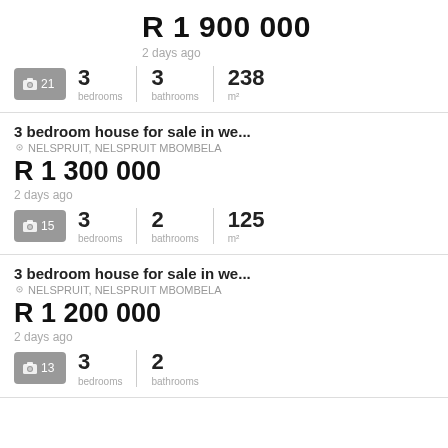R 1 900 000
2 days ago
3 bedrooms | 3 bathrooms | 238 m²
3 bedroom house for sale in we...
NELSPRUIT, NELSPRUIT MBOMBELA
R 1 300 000
2 days ago
3 bedrooms | 2 bathrooms | 125 m²
3 bedroom house for sale in we...
NELSPRUIT, NELSPRUIT MBOMBELA
R 1 200 000
2 days ago
3 bedrooms | 2 bathrooms